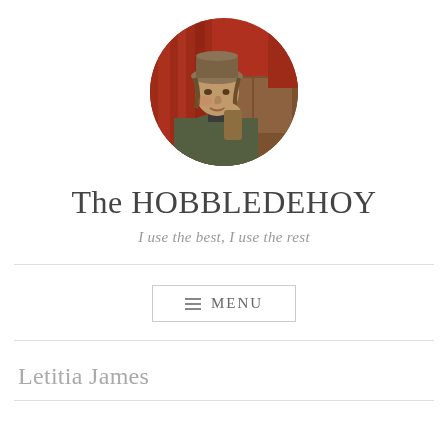[Figure (illustration): Circular avatar/profile image showing a painted portrait of a person wearing a hat, sitting, with reddish curtain backdrop and wooden paneling. Classic oil painting style.]
The HOBBLEDEHOY
I use the best, I use the rest
≡ MENU
Letitia James